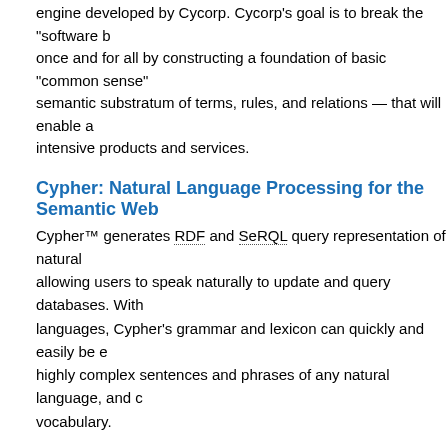The Cyc Knowledge Server is a very large, multi-contextual knowledge engine developed by Cycorp. Cycorp's goal is to break the "software barrier" once and for all by constructing a foundation of basic "common sense" — a semantic substratum of terms, rules, and relations — that will enable a host of knowledge-intensive products and services.
Cypher: Natural Language Processing for the Semantic Web
Cypher™ generates RDF and SeRQL query representation of natural language, allowing users to speak naturally to update and query databases. With a core of languages, Cypher's grammar and lexicon can quickly and easily be extended to highly complex sentences and phrases of any natural language, and customized vocabulary.
Metalink meets RDF and SPARQL
At Geospatial Semantic Web Blog, Harry Chen writes about an example that maps an existing Metalink description into RDF and uses SPARQL to query it.
Cypher
Cyc
Metalink
Link Roundup
Add to del.icio.us   Add to Reddit   Submit to Digg